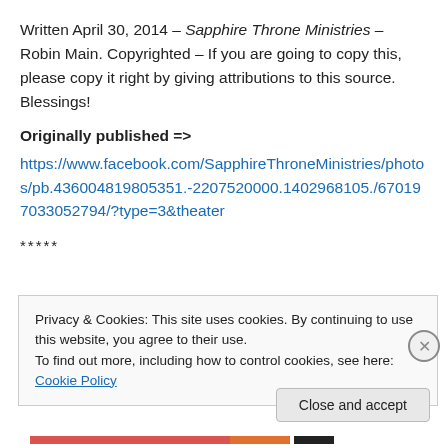Written April 30, 2014 – Sapphire Throne Ministries – Robin Main. Copyrighted – If you are going to copy this, please copy it right by giving attributions to this source. Blessings!
Originally published =>
https://www.facebook.com/SapphireThroneMinistries/photos/pb.436004819805351.-2207520000.1402968105./670197033052794/?type=3&theater
*****
Privacy & Cookies: This site uses cookies. By continuing to use this website, you agree to their use.
To find out more, including how to control cookies, see here: Cookie Policy